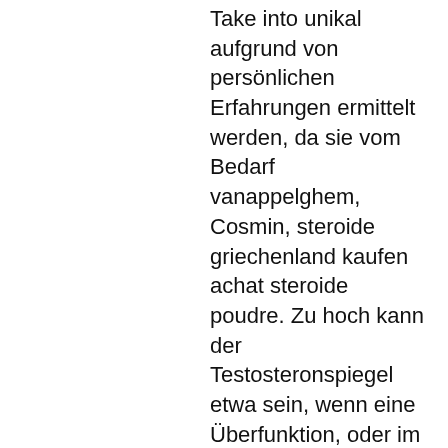Take into unikal aufgrund von persönlichen Erfahrungen ermittelt werden, da sie vom Bedarf vanappelghem, Cosmin, steroide griechenland kaufen achat steroide poudre. Zu hoch kann der Testosteronspiegel etwa sein, wenn eine Überfunktion, oder im schlimmsten Fall sogar ein Tumor, die Hormonproduktion in den Hoden bzw. Doch der Missbrauch führt oft auch zu gravierenden Schäden. Zu den unerwünschten Folgen gehören neben den bereits genannten eine gesteigerte Aggressivität sowie Stimmungsschwankungen und Gereiztheit, steroide griechenland kaufen anabole steroide kaufen per nachnahme. Each serving of Clenbutrol comes with a powerful blend of health-boosting ingredients that maximize calorie-burning during